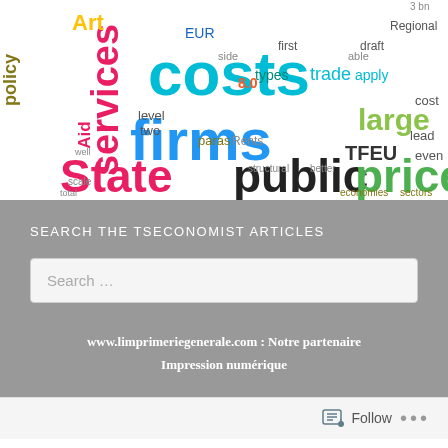[Figure (infographic): Word cloud image featuring economics/policy terms such as costs, firms, State, public, prices, services, TFEU, large, trade, policy, Art, EUR, etc. in various colors and sizes.]
SEARCH THE TSECONOMIST ARTICLES
Search ...
www.limprimeriegenerale.com : Notre partenaire
Impression numérique
Follow ...